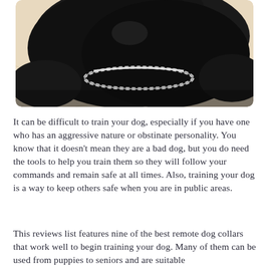[Figure (photo): Close-up photo of a black dog (likely a large breed) wearing a chain/metal collar, photographed from above at an angle. The dog's head and upper body are visible against a light beige tiled floor background.]
It can be difficult to train your dog, especially if you have one who has an aggressive nature or obstinate personality. You know that it doesn't mean they are a bad dog, but you do need the tools to help you train them so they will follow your commands and remain safe at all times. Also, training your dog is a way to keep others safe when you are in public areas.
This reviews list features nine of the best remote dog collars that work well to begin training your dog. Many of them can be used from puppies to seniors and are suitable for all breeds. Read through our buyer's guide at the end of the article to help you figure out the key features you need